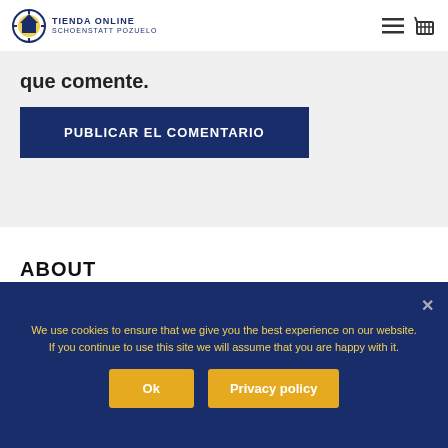TIENDA ONLINE SCHOENSTATT POZUELO
que comente.
PUBLICAR EL COMENTARIO
ABOUT
Lorem ipsum dolor sit amet, consectetuer adipiscing elit, sed diam nonummy nibh euismod tincidunt.
We use cookies to ensure that we give you the best experience on our website. If you continue to use this site we will assume that you are happy with it.